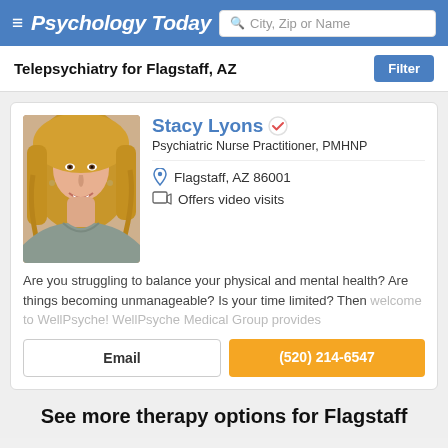Psychology Today
Telepsychiatry for Flagstaff, AZ
[Figure (photo): Headshot photo of Stacy Lyons, a woman with long blonde hair wearing a grey top]
Stacy Lyons
Psychiatric Nurse Practitioner, PMHNP
Flagstaff, AZ 86001
Offers video visits
Are you struggling to balance your physical and mental health? Are things becoming unmanageable? Is your time limited? Then welcome to WellPsyche! WellPsyche Medical Group provides
Email
(520) 214-6547
See more therapy options for Flagstaff